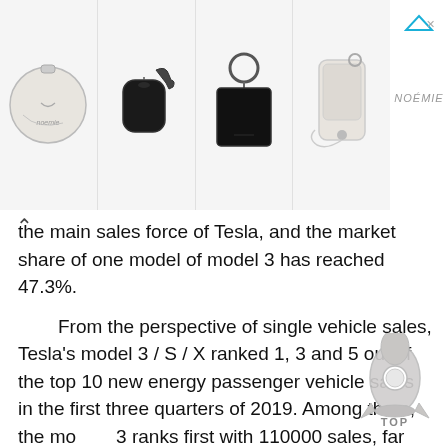[Figure (photo): Advertisement banner showing leather accessories: round white pouch, black AirPods case, black square key fob, white phone case with lanyard. Brand name NOEMIE shown on right side with ad arrows.]
the main sales force of Tesla, and the market share of one model of model 3 has reached 47.3%.
From the perspective of single vehicle sales, Tesla's model 3 / S / X ranked 1, 3 and 5 out of the top 10 new energy passenger vehicle sales in the first three quarters of 2019. Among them, the model 3 ranks first with 110000 sales, far surpassing the second ranked Toyota Prius.
From the perspective of market share and model sales, model 3 models are competitive in the U.S. market; after model 3 is made in China, it will have a